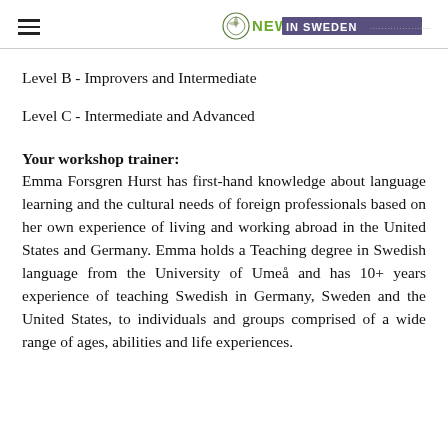NEW IN SWEDEN
Level B - Improvers and Intermediate
Level C - Intermediate and Advanced
Your workshop trainer:
Emma Forsgren Hurst has first-hand knowledge about language learning and the cultural needs of foreign professionals based on her own experience of living and working abroad in the United States and Germany. Emma holds a Teaching degree in Swedish language from the University of Umeå and has 10+ years experience of teaching Swedish in Germany, Sweden and the United States, to individuals and groups comprised of a wide range of ages, abilities and life experiences.